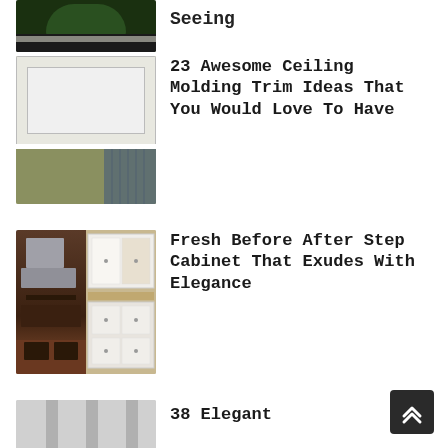[Figure (photo): Partial view of green garden shrubs with dark mulch/ground, cut off at top]
Seeing
[Figure (photo): Ceiling molding trim in a room with white crown molding, coffered ceiling detail, olive/green walls, and a radiator]
23 Awesome Ceiling Molding Trim Ideas That You Would Love To Have
[Figure (photo): Before and after kitchen cabinet makeover: dark wood cabinets (before) and white painted cabinets (after)]
Fresh Before After Step Cabinet That Exudes With Elegance
[Figure (photo): Partial view of a refrigerator or appliance, cut off at bottom]
38 Elegant